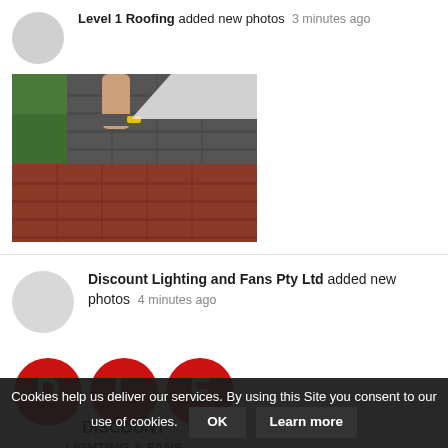Level 1 Roofing added new photos 3 minutes ago
[Figure (photo): Person installing dark roofing shingles on a roof with reddish-brown shingles below]
Discount Lighting and Fans Pty Ltd added new photos 4 minutes ago
[Figure (logo): DLF Discount Lighting and Fans logo — red circles with white letters D, L, F and text DISCOUNT LIGHTING & FANS below]
Cookies help us deliver our services. By using this Site you consent to our use of cookies. OK Learn more